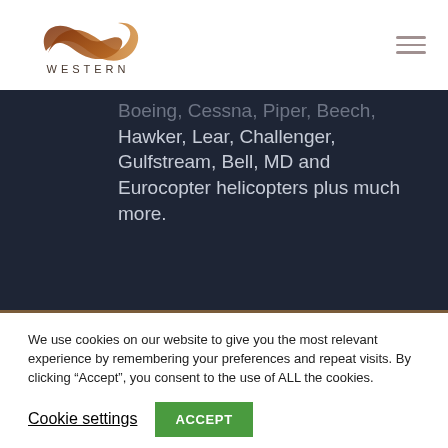[Figure (logo): Western company logo with stylized wing/infinity shape in brown/orange gradient and 'WESTERN' text below]
Boeing, Cessna, Piper, Beech, Hawker, Lear, Challenger, Gulfstream, Bell, MD and Eurocopter helicopters plus much more.
We use cookies on our website to give you the most relevant experience by remembering your preferences and repeat visits. By clicking “Accept”, you consent to the use of ALL the cookies.
Cookie settings
ACCEPT